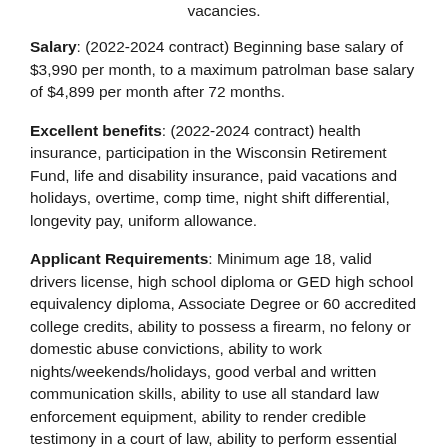vacancies.
Salary: (2022-2024 contract) Beginning base salary of $3,990 per month, to a maximum patrolman base salary of $4,899 per month after 72 months.
Excellent benefits: (2022-2024 contract) health insurance, participation in the Wisconsin Retirement Fund, life and disability insurance, paid vacations and holidays, overtime, comp time, night shift differential, longevity pay, uniform allowance.
Applicant Requirements: Minimum age 18, valid drivers license, high school diploma or GED high school equivalency diploma, Associate Degree or 60 accredited college credits, ability to possess a firearm, no felony or domestic abuse convictions, ability to work nights/weekends/holidays, good verbal and written communication skills, ability to use all standard law enforcement equipment, ability to render credible testimony in a court of law, ability to perform essential functions of the position, certified or certifiable by the Wisconsin Law Enforcement Standards Board.
Testing Requirements: Must pass written exam, physical agility test,